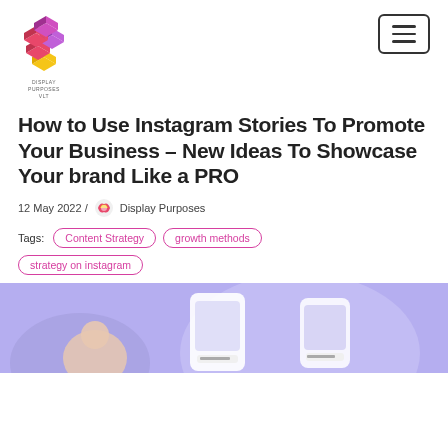[Figure (logo): Colorful geometric puzzle-piece logo for Display Purposes]
How to Use Instagram Stories To Promote Your Business – New Ideas To Showcase Your brand Like a PRO
12 May 2022 / Display Purposes
Tags: Content Strategy   growth methods   strategy on instagram
[Figure (photo): Hero image with purple background showing a woman and phone screens with Instagram story examples]